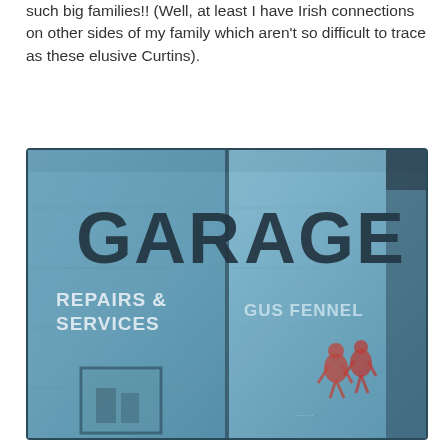such big families!! (Well, at least I have Irish connections on other sides of my family which aren't so difficult to trace as these elusive Curtins).
[Figure (photo): A weathered blue garage door/wall with large painted text reading 'GARAGE', below which are painted 'REPAIRS & SERVICES' on the left panel and 'GUS FENNEL' on the right panel. There is graffiti with red figures on the right side. A small door or window is visible at the bottom left.]